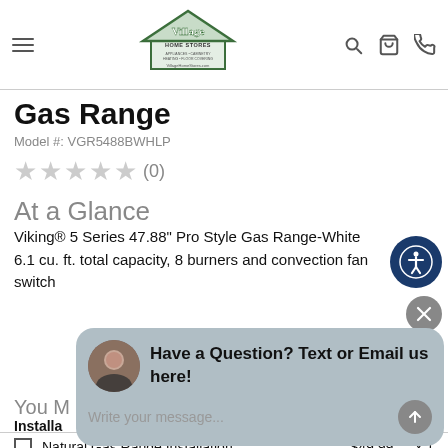Village Home Stores — navigation header with menu, logo, search, cart, phone icons
Gas Range
Model #: VGR5488BWHLP
★★★★★ (0)
At a Glance
Viking® 5 Series 47.88" Pro Style Gas Range-White 6.1 cu. ft. total capacity, 8 burners and convection fan switch
Have a Question? Text or Email us here!
You M...
Installation
|  | Item | Price | Qty |
| --- | --- | --- | --- |
| ☐ | Natural Gas Range Installation | $49.99 | x 1 |